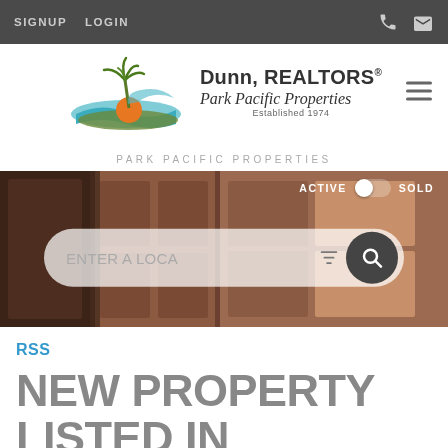SIGNUP  LOGIN
[Figure (logo): Dunn REALTORS Park Pacific Properties logo with palm tree and wave graphic. Established 1974.]
PARK PACIFIC PROPERTIES
[Figure (screenshot): Hero background image showing wooden doors/panels. Overlay with ACTIVE / SOLD toggle and a search bar reading ENTER A LOCA with filter and search icons.]
RSS
NEW PROPERTY LISTED IN COASTAL